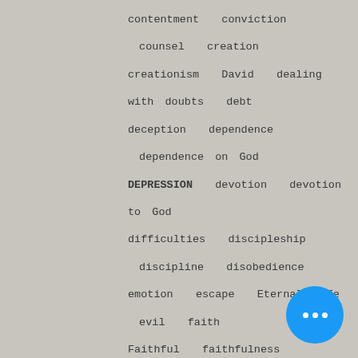contentment  conviction  counsel  creation  creationism  David  dealing with doubts  debt  deception  dependence  dependence on God  DEPRESSION  devotion  devotion to God  difficulties  discipleship  discipline  disobedience  emotion  escape  Eternal life  evil  faith  Faithful  faithfulness  faithfulness. testimony  Father  fear  fear of the Lord  finances  following Christ  forgiveness  God  God cares  God is immutable  God is just  God's calling  God's character  God's discipline  God's dwelling  God's faithfulness  God's grace  God's Kingdom  god's kingdom. christ's example  God's love  God's mercies  God's mercy  God's nature